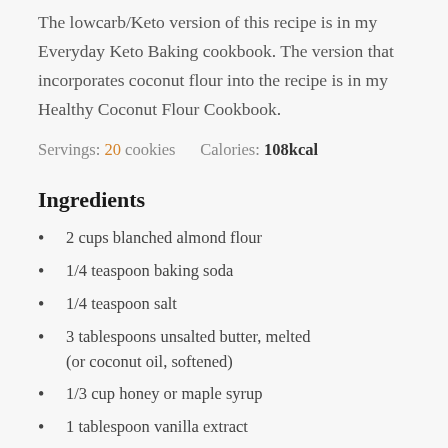The lowcarb/Keto version of this recipe is in my Everyday Keto Baking cookbook. The version that incorporates coconut flour into the recipe is in my Healthy Coconut Flour Cookbook.
Servings: 20 cookies    Calories: 108kcal
Ingredients
2 cups blanched almond flour
1/4 teaspoon baking soda
1/4 teaspoon salt
3 tablespoons unsalted butter, melted (or coconut oil, softened)
1/3 cup honey or maple syrup
1 tablespoon vanilla extract
1 tablespoon ground cinnamon